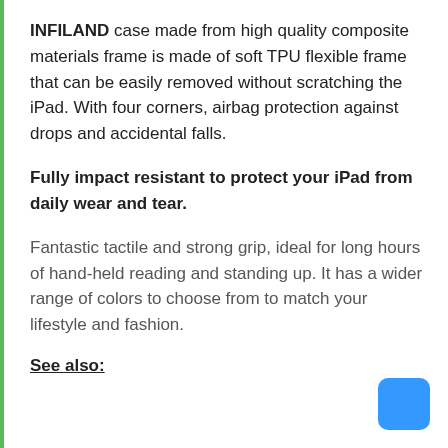INFILAND case made from high quality composite materials frame is made of soft TPU flexible frame that can be easily removed without scratching the iPad. With four corners, airbag protection against drops and accidental falls.
Fully impact resistant to protect your iPad from daily wear and tear.
Fantastic tactile and strong grip, ideal for long hours of hand-held reading and standing up. It has a wider range of colors to choose from to match your lifestyle and fashion.
See also:
[Figure (other): Blue rounded rectangle button in bottom right corner]